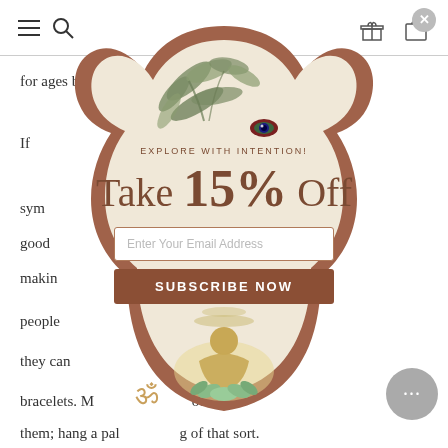[Figure (screenshot): Website navigation bar with hamburger menu, search icon, gift icon, and bag icon]
for ages b...
If...
sym...
good
makin...
people                    stance,
they can                 ces o
bracelets. M             oo of
them; hang a pal            g of that sort.
[Figure (infographic): Hamsa hand shaped popup modal with botanical illustrations, evil eye symbol, Buddha figure, Om symbol, offering 15% off discount with email subscription form. Text reads: EXPLORE WITH INTENTION!, Take 15% Off, Enter Your Email Address, SUBSCRIBE NOW]